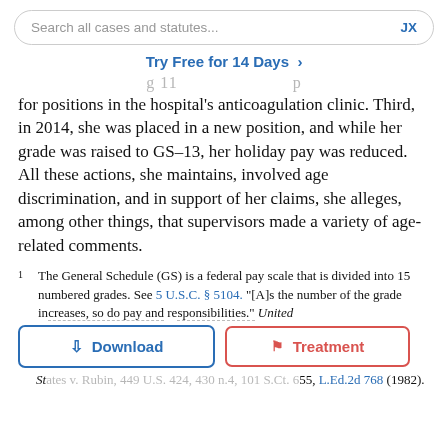Search all cases and statutes...   JX
Try Free for 14 Days >
g 11                         p
for positions in the hospital's anticoagulation clinic. Third, in 2014, she was placed in a new position, and while her grade was raised to GS–13, her holiday pay was reduced. All these actions, she maintains, involved age discrimination, and in support of her claims, she alleges, among other things, that supervisors made a variety of age-related comments.
1  The General Schedule (GS) is a federal pay scale that is divided into 15 numbered grades. See 5 U.S.C. § 5104. "[A]s the number of the grade increases, so do pay and responsibilities." United States v. Rubin, 449 U.S. 424, 430 n.4, 101 S.Ct. 698, 66 L.Ed.2d 768 (1982).